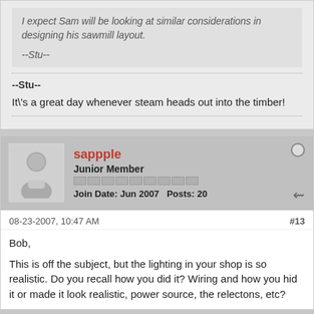I expect Sam will be looking at similar considerations in designing his sawmill layout.
--Stu--
--Stu--
It\'s a great day whenever steam heads out into the timber!
sappple
Junior Member
Join Date: Jun 2007   Posts: 20
08-23-2007, 10:47 AM
#13
Bob,
This is off the subject, but the lighting in your shop is so realistic. Do you recall how you did it? Wiring and how you hid it or made it look realistic, power source, the relectons, etc?